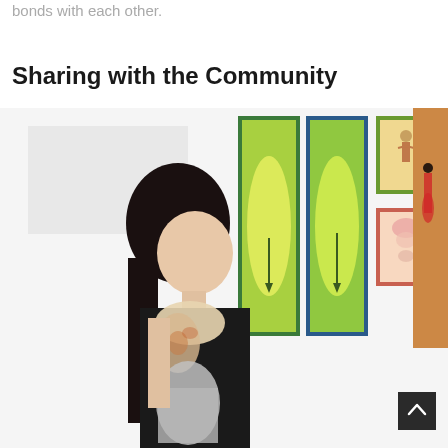bonds with each other.
Sharing with the Community
[Figure (photo): A young woman with long dark hair, wearing a black sleeveless top and a floral scarf, stands in an art gallery viewing colorful framed paintings on a white wall. The artworks include tall green abstract pieces and smaller framed works with warm orange and pink tones.]
[Figure (other): Scroll-to-top button (dark square with upward chevron arrow)]